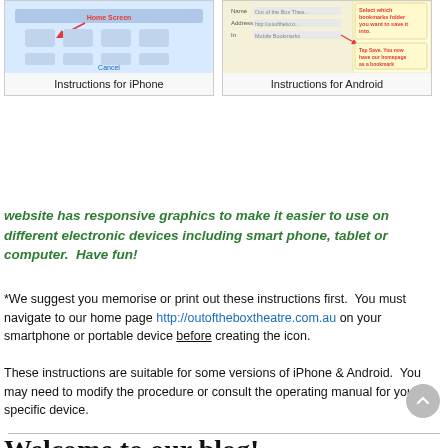[Figure (screenshot): iPhone instructions screenshot showing home screen with arrow and Cancel button]
Instructions for iPhone
[Figure (screenshot): Android instructions screenshot showing bookmarks folder selection and Save instructions with annotations]
Instructions for Android
website has responsive graphics to make it easier to use on different electronic devices including smart phone, tablet or computer.  Have fun!
*We suggest you memorise or print out these instructions first.  You must navigate to our home page http://outoftheboxtheatre.com.au on your smartphone or portable device before creating the icon.
These instructions are suitable for some versions of iPhone & Android.  You may need to modify the procedure or consult the operating manual for your specific device.
Welcome to our blog!